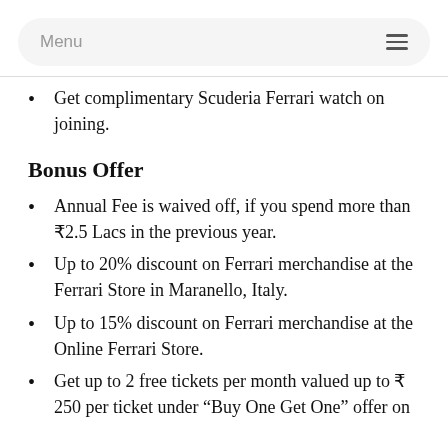Menu
Get complimentary Scuderia Ferrari watch on joining.
Bonus Offer
Annual Fee is waived off, if you spend more than ₹2.5 Lacs in the previous year.
Up to 20% discount on Ferrari merchandise at the Ferrari Store in Maranello, Italy.
Up to 15% discount on Ferrari merchandise at the Online Ferrari Store.
Get up to 2 free tickets per month valued up to ₹ 250 per ticket under “Buy One Get One” offer on